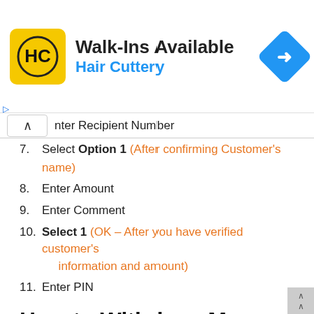[Figure (infographic): Hair Cuttery advertisement banner with yellow logo, 'Walk-Ins Available' headline, blue turn arrow icon]
Enter Recipient Number
7. Select Option 1 (After confirming Customer's name)
8. Enter Amount
9. Enter Comment
10. Select 1 (OK – After you have verified customer's information and amount)
11. Enter PIN
How to Withdraw Money from your G -Money Wallet at ATM
GCB G – Money brings another solution of convenience